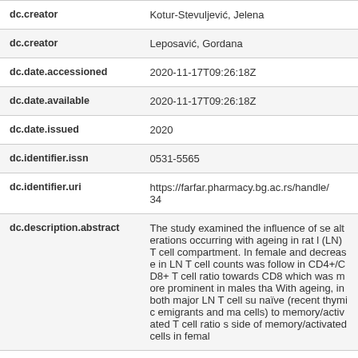| Field | Value |
| --- | --- |
| dc.creator | Kotur-Stevuljević, Jelena |
| dc.creator | Leposavić, Gordana |
| dc.date.accessioned | 2020-11-17T09:26:18Z |
| dc.date.available | 2020-11-17T09:26:18Z |
| dc.date.issued | 2020 |
| dc.identifier.issn | 0531-5565 |
| dc.identifier.uri | https://farfar.pharmacy.bg.ac.rs/handle/34 |
| dc.description.abstract | The study examined the influence of se alterations occurring with ageing in rat l (LN) T cell compartment. In female and decrease in LN T cell counts was follow in CD4+/CD8+ T cell ratio towards CD8 which was more prominent in males tha With ageing, in both major LN T cell su naïve (recent thymic emigrants and ma cells) to memory/activated T cell ratio s side of memory/activated cells in femal |